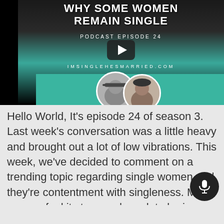[Figure (screenshot): Video thumbnail for a podcast episode titled 'Why Some Women Remain Single – Podcast Episode 24' from imsinglehesmarried.com, showing a YouTube-style play button, with two circular host photos on a teal background strip.]
Hello World, It's episode 24 of season 3. Last week's conversation was a little heavy and brought out a lot of low vibrations. This week, we've decided to comment on a trending topic regarding single women and they're contentment with singleness. Many wom feel its too much work to be in relations...